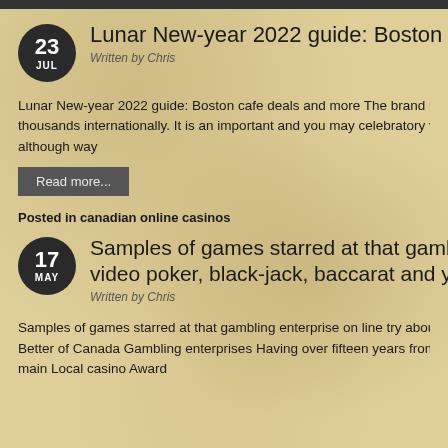Lunar New-year 2022 guide: Boston cafe deals
Written by Chris
Lunar New-year 2022 guide: Boston cafe deals and more The brand new Lu... thousands internationally. It is an important and you may celebratory vacatio... although way
Read more...
Posted in canadian online casinos
Samples of games starred at that gambling ente... video poker, black-jack, baccarat and you will ro...
Written by Chris
Samples of games starred at that gambling enterprise on line try about three... Better of Canada Gambling enterprises Having over fifteen years from recor... main Local casino Award